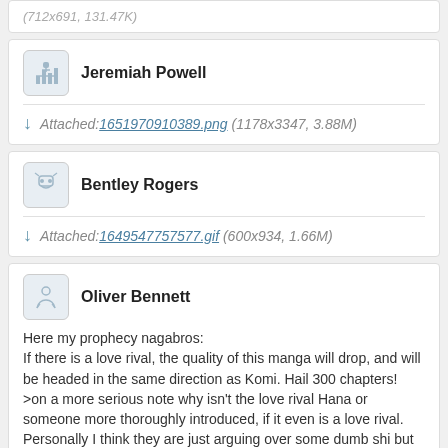(712x691, 131.47K)
Jeremiah Powell
Attached: 1651970910389.png (1178x3347, 3.88M)
Bentley Rogers
Attached: 1649547757577.gif (600x934, 1.66M)
Oliver Bennett
Here my prophecy nagabros:
If there is a love rival, the quality of this manga will drop, and will be headed in the same direction as Komi. Hail 300 chapters!
>on a more serious note why isn't the love rival Hana or someone more thoroughly introduced, if it even is a love rival. Personally I think they are just arguing over some dumb shi but thats just me.